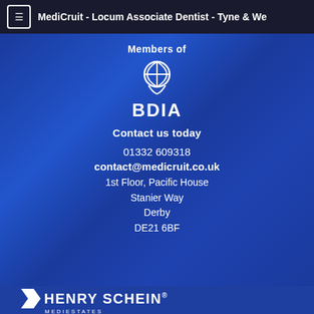MediCruit - Locum Associate Dentist - Tyne & We
Members of
[Figure (logo): BDIA logo - British Dental Industry Association logo with stylized dental/globe icon above the text BDIA]
Contact us today
01332 609318
contact@medicruit.co.uk
1st Floor, Pacific House
Stanier Way
Derby
DE21 6BF
[Figure (logo): Henry Schein Mediestates logo - white chevron/arrow mark followed by HENRY SCHEIN® in bold capitals, with MEDIESTATES below in smaller caps]
[Figure (logo): Henry Schein Medicruit logo - white chevron/arrow mark followed by HENRY SCHEIN® in bold capitals, with MEDICRUIT below in smaller caps]